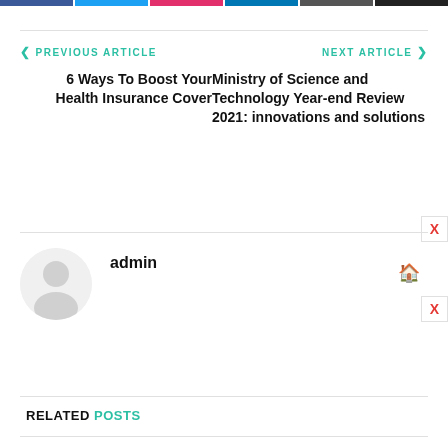Navigation bar with social share buttons
< PREVIOUS ARTICLE
NEXT ARTICLE >
6 Ways To Boost Your Health Insurance Cover
Ministry of Science and Technology Year-end Review 2021: innovations and solutions
admin
RELATED POSTS